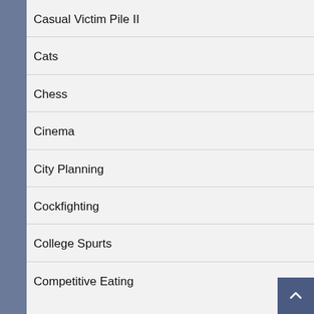Casual Victim Pile II
Cats
Chess
Cinema
City Planning
Cockfighting
College Spurts
Competitive Eating